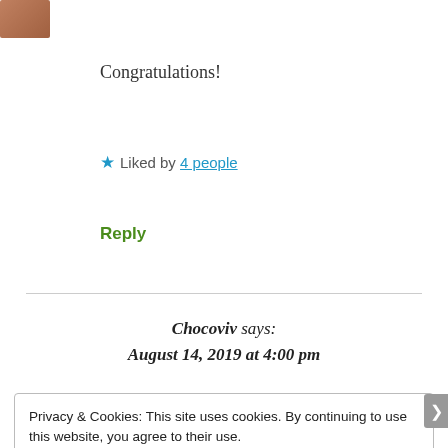[Figure (photo): Small circular/square avatar image in top left corner]
Congratulations!
★ Liked by 4 people
Reply
Chocoviv says:
August 14, 2019 at 4:00 pm
Privacy & Cookies: This site uses cookies. By continuing to use this website, you agree to their use.
To find out more, including how to control cookies, see here: Cookie Policy
Close and accept